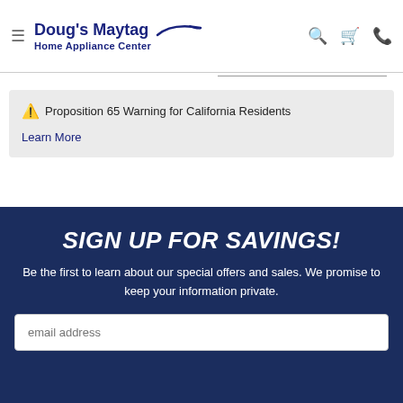Doug's Maytag Home Appliance Center
⚠ Proposition 65 Warning for California Residents
Learn More
SIGN UP FOR SAVINGS!
Be the first to learn about our special offers and sales. We promise to keep your information private.
email address